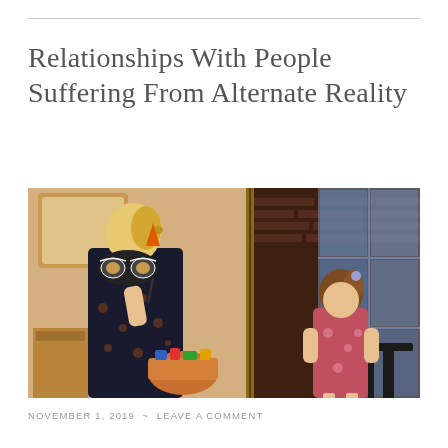Relationships With People Suffering From Alternate Reality
[Figure (photo): A woman in a black floral dress holds a masquerade mask with a small orange party hat decoration up to her face, while a young girl with brown hair in a pink outfit stands at the doorway holding a candy bucket — a Halloween trick-or-treating scene.]
NOVEMBER 1, 2019  ~  LEAVE A COMMENT